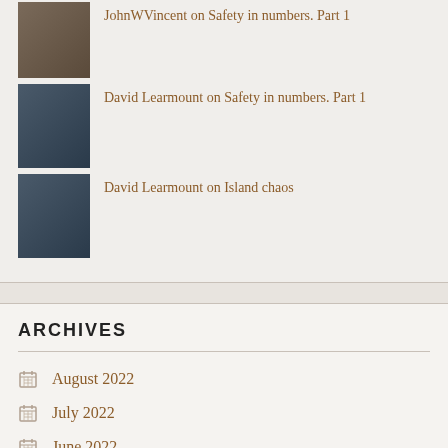JohnWVincent on Safety in numbers. Part 1
David Learmount on Safety in numbers. Part 1
David Learmount on Island chaos
ARCHIVES
August 2022
July 2022
June 2022
May 2022
April 2022
March 2022